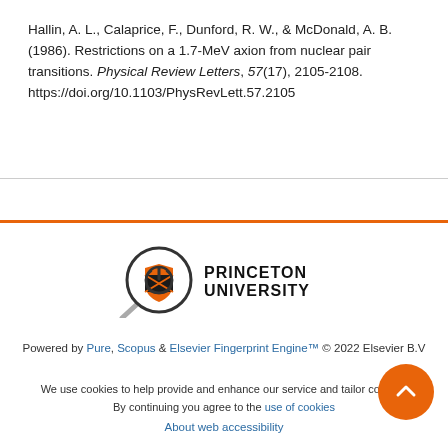Hallin, A. L., Calaprice, F., Dunford, R. W., & McDonald, A. B. (1986). Restrictions on a 1.7-MeV axion from nuclear pair transitions. Physical Review Letters, 57(17), 2105-2108. https://doi.org/10.1103/PhysRevLett.57.2105
[Figure (logo): Princeton University logo with magnifying glass icon and shield emblem]
Powered by Pure, Scopus & Elsevier Fingerprint Engine™ © 2022 Elsevier B.V
We use cookies to help provide and enhance our service and tailor content. By continuing you agree to the use of cookies
About web accessibility